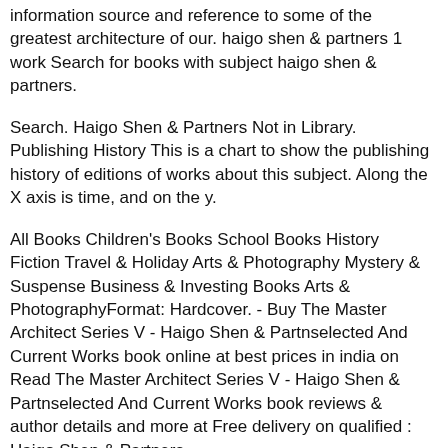information source and reference to some of the greatest architecture of our. haigo shen & partners 1 work Search for books with subject haigo shen & partners.
Search. Haigo Shen & Partners Not in Library. Publishing History This is a chart to show the publishing history of editions of works about this subject. Along the X axis is time, and on the y.
All Books Children's Books School Books History Fiction Travel & Holiday Arts & Photography Mystery & Suspense Business & Investing Books Arts & PhotographyFormat: Hardcover. - Buy The Master Architect Series V - Haigo Shen & Partnselected And Current Works book online at best prices in india on Read The Master Architect Series V - Haigo Shen & Partnselected And Current Works book reviews & author details and more at Free delivery on qualified : Haigo Shen & Partners.
THE MASTER ARCHITECT Series V, Haigo Shen & Partners Unsold $ 0 Bids or Best Offer, $ Shipping, eBay Money Back Guarantee Seller: acebargainhunters () %, Location: Central Coast, New South Wales, Ships to: AU, Item:  Haigo Shen